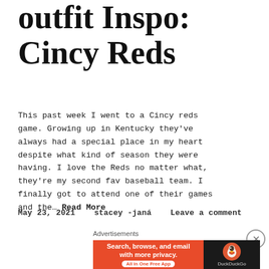outfit Inspo: Cincy Reds
This past week I went to a Cincy reds game. Growing up in Kentucky they've always had a special place in my heart despite what kind of season they were having. I love the Reds no matter what, they're my second fav baseball team. I finally got to attend one of their games and the… Read More
May 23, 2021    stacey -janá    Leave a comment
Advertisements
[Figure (other): DuckDuckGo advertisement banner: 'Search, browse, and email with more privacy. All in One Free App' with DuckDuckGo logo on dark background]